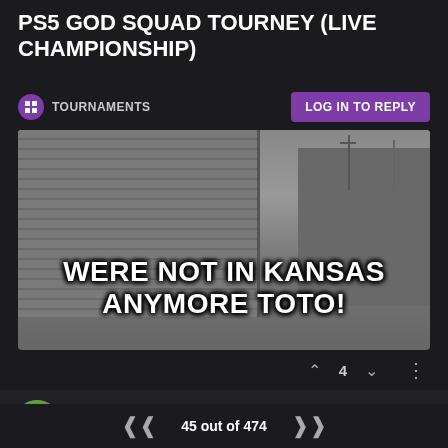PS5 GOD SQUAD TOURNEY (LIVE CHAMPIONSHIP)
TOURNAMENTS
LOG IN TO REPLY
[Figure (photo): Grayscale image of old buildings/houses with text overlay reading 'WERE NOT IN KANSAS ANYMORE TOTO!']
4
JDRFLIP
@HARPYEAGLE72
JUN 9, 2022, 4:40 PM
45 out of 474